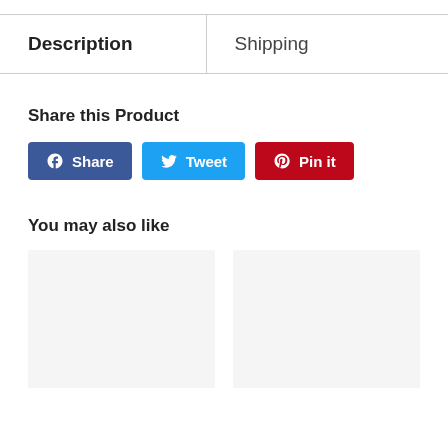| Description | Shipping |
| --- | --- |
Share this Product
[Figure (other): Social share buttons: Facebook Share, Tweet, Pin it]
You may also like
[Figure (other): Two product placeholder cards side by side]